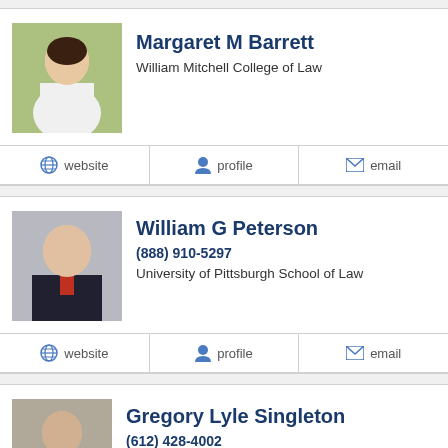[Figure (photo): Headshot of Margaret M Barrett, woman with dark hair wearing white jacket]
Margaret M Barrett
William Mitchell College of Law
website  profile  email
[Figure (photo): Headshot of William G Peterson, older man in suit and tie]
William G Peterson
(888) 910-5297
University of Pittsburgh School of Law
website  profile  email
[Figure (photo): Headshot of Gregory Lyle Singleton, young man in suit]
Gregory Lyle Singleton
(612) 428-4002
University of Minnesota Law School